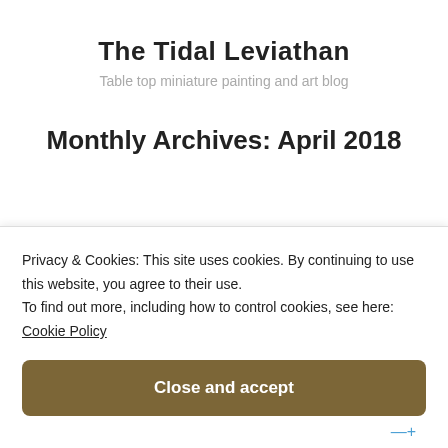The Tidal Leviathan
Table top miniature painting and art blog
Monthly Archives: April 2018
Privacy & Cookies: This site uses cookies. By continuing to use this website, you agree to their use.
To find out more, including how to control cookies, see here: Cookie Policy
Close and accept